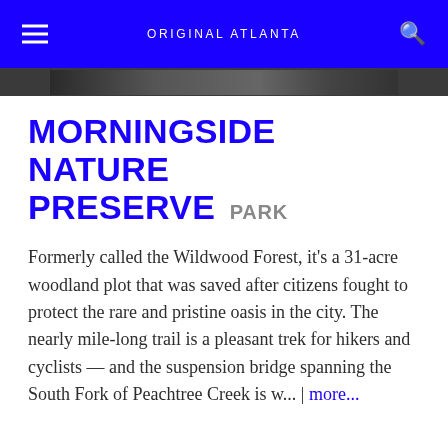ORIGINAL ATLANTA
[Figure (photo): Partial photograph strip of a nature preserve or park scene, dark tones]
MORNINGSIDE NATURE PRESERVE PARK
Formerly called the Wildwood Forest, it's a 31-acre woodland plot that was saved after citizens fought to protect the rare and pristine oasis in the city. The nearly mile-long trail is a pleasant trek for hikers and cyclists — and the suspension bridge spanning the South Fork of Peachtree Creek is w... | more...